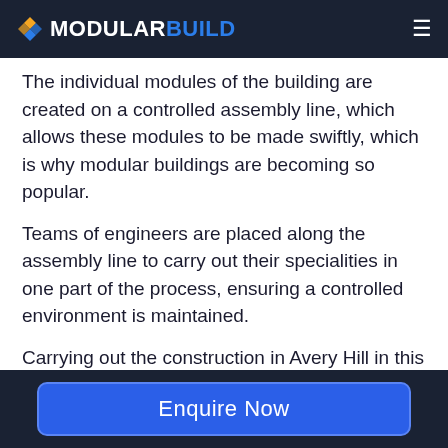MODULARBUILD
The individual modules of the building are created on a controlled assembly line, which allows these modules to be made swiftly, which is why modular buildings are becoming so popular.
Teams of engineers are placed along the assembly line to carry out their specialities in one part of the process, ensuring a controlled environment is maintained.
Carrying out the construction in Avery Hill in this method allows quality control, as the engineers inspect each module to make sure
Enquire Now